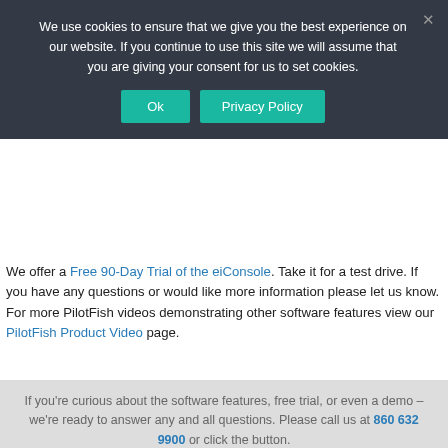We use cookies to ensure that we give you the best experience on our website. If you continue to use this site we will assume that you are giving your consent for us to set cookies.
Ok | Privacy Policy (buttons)
We offer a Free 90-Day Trial of the eiConsole. Take it for a test drive. If you have any questions or would like more information please let us know. For more PilotFish videos demonstrating other software features view our PilotFish Product Video page.
If you're curious about the software features, free trial, or even a demo – we're ready to answer any and all questions. Please call us at 860 632 9900 or click the button.
Contact Us